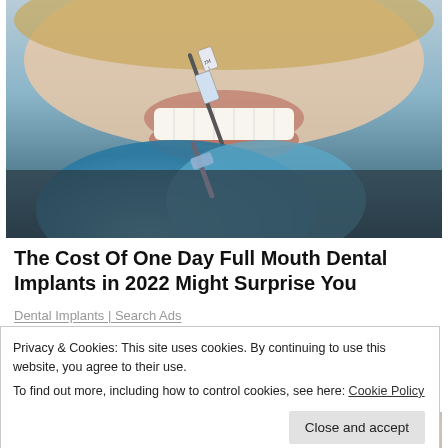[Figure (photo): Close-up photo of a person smiling while a dental professional in blue latex gloves holds a tooth color shade guide near their mouth]
The Cost Of One Day Full Mouth Dental Implants in 2022 Might Surprise You
Dental Implants | Search Ads
Privacy & Cookies: This site uses cookies. By continuing to use this website, you agree to their use.
To find out more, including how to control cookies, see here: Cookie Policy
Close and accept
[Figure (photo): Partial view of people's faces at the bottom of the page, partially cut off]